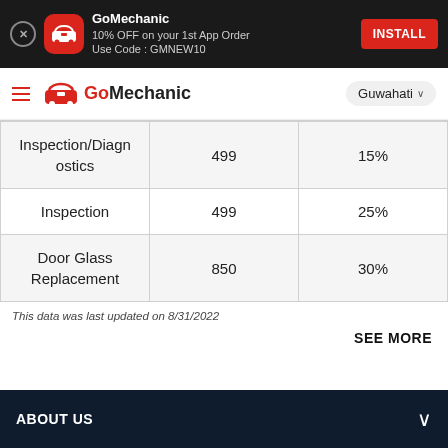[Figure (screenshot): GoMechanic app install banner with red icon, app name, discount offer text, and red INSTALL button on dark background]
[Figure (screenshot): GoMechanic navigation bar with hamburger menu, red car logo, GoMechanic branding, and Guwahati location selector]
| Inspection/Diagnostics | 499 | 15% |
| Inspection | 499 | 25% |
| Door Glass Replacement | 850 | 30% |
This data was last updated on 8/31/2022
SEE MORE
ABOUT US